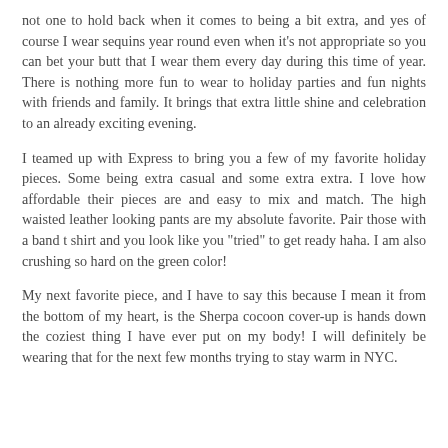not one to hold back when it comes to being a bit extra, and yes of course I wear sequins year round even when it's not appropriate so you can bet your butt that I wear them every day during this time of year. There is nothing more fun to wear to holiday parties and fun nights with friends and family. It brings that extra little shine and celebration to an already exciting evening.
I teamed up with Express to bring you a few of my favorite holiday pieces. Some being extra casual and some extra extra. I love how affordable their pieces are and easy to mix and match. The high waisted leather looking pants are my absolute favorite. Pair those with a band t shirt and you look like you "tried" to get ready haha. I am also crushing so hard on the green color!
My next favorite piece, and I have to say this because I mean it from the bottom of my heart, is the Sherpa cocoon cover-up is hands down the coziest thing I have ever put on my body! I will definitely be wearing that for the next few months trying to stay warm in NYC.